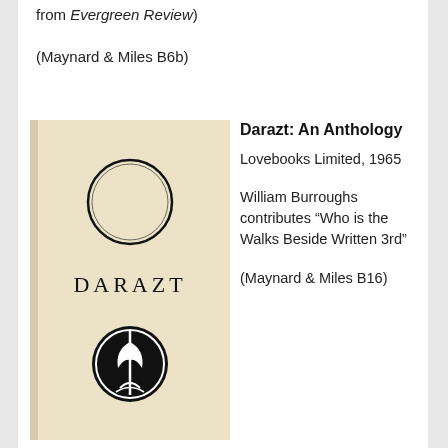from Evergreen Review)
(Maynard & Miles B6b)
[Figure (photo): Book cover of Darazt anthology showing a circle outline at top, the word DARAZT in the middle, and a black circular emblem with stylized figure at bottom, on aged cream/beige paper]
Darazt: An Anthology
Lovebooks Limited, 1965
William Burroughs contributes “Who is the Walks Beside Written 3rd”
(Maynard & Miles B16)